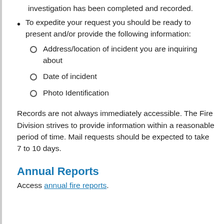investigation has been completed and recorded.
To expedite your request you should be ready to present and/or provide the following information:
Address/location of incident you are inquiring about
Date of incident
Photo Identification
Records are not always immediately accessible. The Fire Division strives to provide information within a reasonable period of time. Mail requests should be expected to take 7 to 10 days.
Annual Reports
Access annual fire reports.